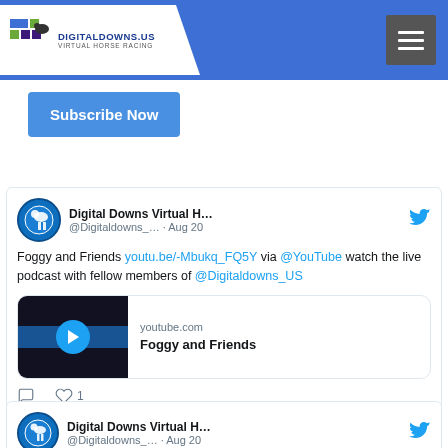DigitalDowns.US Virtual Horse Racing — navigation header with menu button
Subscribe Now
[Figure (screenshot): Tweet from Digital Downs Virtual H... @Digitaldownss_... · Aug 20 — Foggy and Friends youtu.be/-Mbukq_FQ5Y via @YouTube watch the live podcast with fellow members of @Digitaldowns_US — with YouTube media preview card (youtube.com, Foggy and Friends) and 1 like]
[Figure (screenshot): Partial tweet from Digital Downs Virtual H... @Digitaldowns... · Aug 20]